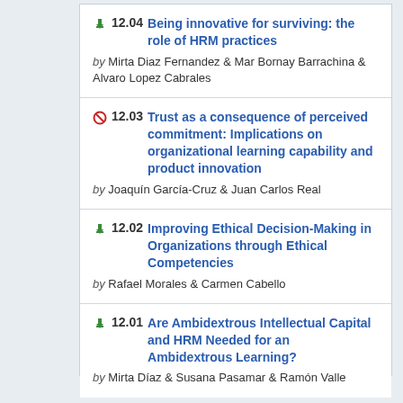12.04 Being innovative for surviving: the role of HRM practices — by Mirta Diaz Fernandez & Mar Bornay Barrachina & Alvaro Lopez Cabrales
12.03 Trust as a consequence of perceived commitment: Implications on organizational learning capability and product innovation — by Joaquín García-Cruz & Juan Carlos Real
12.02 Improving Ethical Decision-Making in Organizations through Ethical Competencies — by Rafael Morales & Carmen Cabello
12.01 Are Ambidextrous Intellectual Capital and HRM Needed for an Ambidextrous Learning? — by Mirta Díaz & Susana Pasamar & Ramón Valle